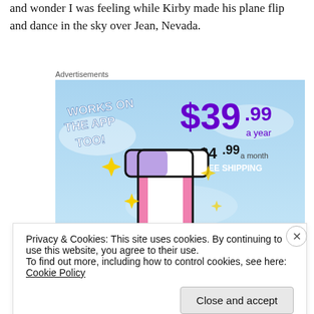and wonder I was feeling while Kirby made his plane flip and dance in the sky over Jean, Nevada.
Advertisements
[Figure (illustration): Tumblr Ad-Free advertisement banner showing the Tumblr 't' logo with sparkles on a light blue sky background. Text reads: WORKS ON THE APP TOO! $39.99 a year or $4.99 a month + FREE SHIPPING. TUMBLR AD-FREE at the bottom.]
Privacy & Cookies: This site uses cookies. By continuing to use this website, you agree to their use.
To find out more, including how to control cookies, see here: Cookie Policy
Close and accept